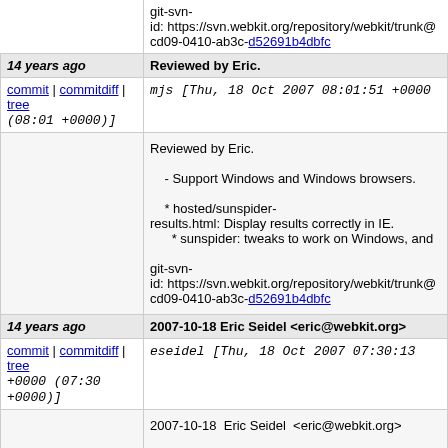git-svn-id: https://svn.webkit.org/repository/webkit/trunk@cd09-0410-ab3c-d52691b4dbfc
14 years ago | Reviewed by Eric.
commit | commitdiff | tree (08:01 +0000)] mjs [Thu, 18 Oct 2007 08:01:51 +0000 (08:01 +0000)]
Reviewed by Eric.
- Support Windows and Windows browsers.
* hosted/sunspider-results.html: Display results correctly in IE.
* sunspider: tweaks to work on Windows, and
git-svn-id: https://svn.webkit.org/repository/webkit/trunk@cd09-0410-ab3c-d52691b4dbfc
14 years ago | 2007-10-18 Eric Seidel <eric@webkit.org>
commit | commitdiff | tree +0000 (07:30 +0000)] eseidel [Thu, 18 Oct 2007 07:30:13 +0000 (07:30 +0000)]
2007-10-18  Eric Seidel  <eric@webkit.org>
Reviewed by Maciej.